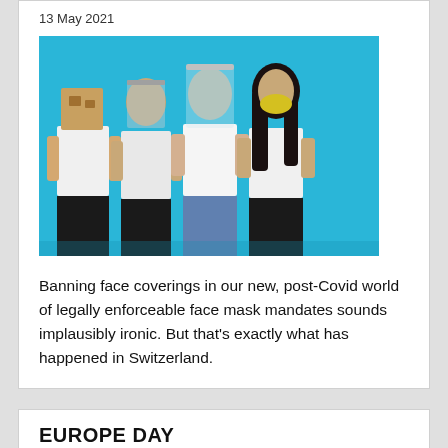13 May 2021
[Figure (photo): Four people standing against a blue background, each wearing different face coverings: a paper bag over the head, a metallic face shield, a clear plastic face shield/visor, and a yellow face mask. All wearing white t-shirts.]
Banning face coverings in our new, post-Covid world of legally enforceable face mask mandates sounds implausibly ironic. But that’s exactly what has happened in Switzerland.
EUROPE DAY